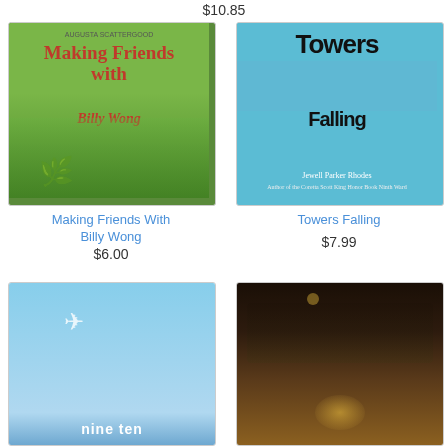$10.85
[Figure (photo): Book cover: Making Friends With Billy Wong by Augusta Scattergood. Two children lying on green grass with a bicycle.]
Making Friends With Billy Wong
$6.00
[Figure (photo): Book cover: Towers Falling by Jewell Parker Rhodes. Blue cover with city skyline and large bold text.]
Towers Falling
$7.99
[Figure (photo): Book cover: nineten (nine ten). Blue sky with airplane.]
[Figure (photo): Book cover: Mystery/fantasy book. Dark forest with glowing house in trees.]